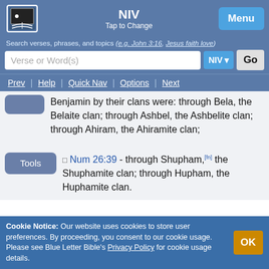NIV | Tap to Change | Menu
Search verses, phrases, and topics (e.g. John 3:16, Jesus faith love)
Verse or Word(s) | NIV | Go
Prev | Help | Quick Nav | Options | Next
Benjamin by their clans were: through Bela, the Belaite clan; through Ashbel, the Ashbelite clan; through Ahiram, the Ahiramite clan;
Num 26:39 - through Shupham,[fn] the Shuphamite clan; through Hupham, the Huphamite clan.
Cookie Notice: Our website uses cookies to store user preferences. By proceeding, you consent to our cookie usage. Please see Blue Letter Bible's Privacy Policy for cookie usage details.